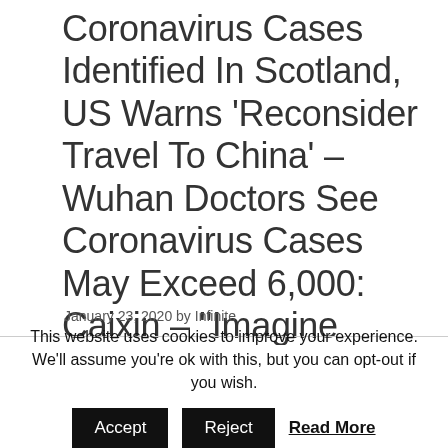Coronavirus Cases Identified In Scotland, US Warns 'Reconsider Travel To China' – Wuhan Doctors See Coronavirus Cases May Exceed 6,000: Caixin – "Imagine London In Full Lockdown"
January 23, 2020 by Infinite
This website uses cookies to improve your experience. We'll assume you're ok with this, but you can opt-out if you wish.
Accept  Reject  Read More  https://infiniteunknown.net/dsgvo/